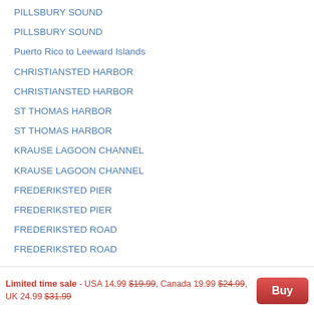PILLSBURY SOUND
PILLSBURY SOUND
Puerto Rico to Leeward Islands
CHRISTIANSTED HARBOR
CHRISTIANSTED HARBOR
ST THOMAS HARBOR
ST THOMAS HARBOR
KRAUSE LAGOON CHANNEL
KRAUSE LAGOON CHANNEL
FREDERIKSTED PIER
FREDERIKSTED PIER
FREDERIKSTED ROAD
FREDERIKSTED ROAD
Limited time sale - USA 14.99 $19.99, Canada 19.99 $24.99, UK 24.99 $31.99